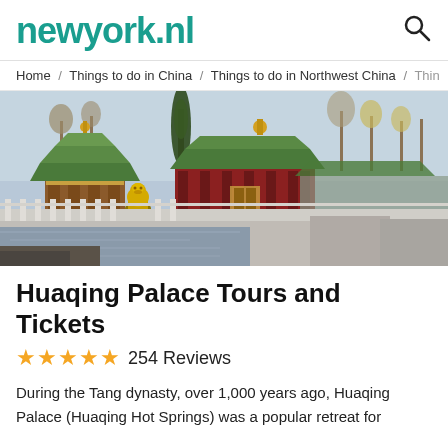newyork.nl
Home / Things to do in China / Things to do in Northwest China / Thin
[Figure (photo): Exterior view of Huaqing Palace showing traditional Chinese architecture with green tiled roofs, a golden guardian lion statue, stone balustrades, and bare winter trees in the background.]
Huaqing Palace Tours and Tickets
★★★★★ 254 Reviews
During the Tang dynasty, over 1,000 years ago, Huaqing Palace (Huaqing Hot Springs) was a popular retreat for